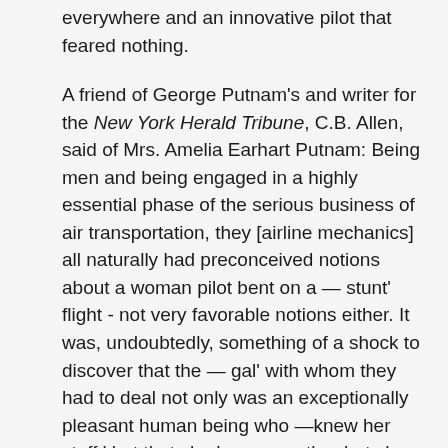everywhere and an innovative pilot that feared nothing.
A friend of George Putnam's and writer for the New York Herald Tribune, C.B. Allen, said of Mrs. Amelia Earhart Putnam: Being men and being engaged in a highly essential phase of the serious business of air transportation, they [airline mechanics] all naturally had preconceived notions about a woman pilot bent on a — stunt' flight - not very favorable notions either. It was, undoubtedly, something of a shock to discover that the — gal' with whom they had to deal not only was an exceptionally pleasant human being who —knew her stuff,' but that she knew exactly what she wanted done, and had sense enough to let them alone while they did it. There was an almost audible clatter of chips falling off skeptical masculine shoulders.
Amelia Earhart died the way she wanted, with her plane while still able to fly. From a poem she wrote titled